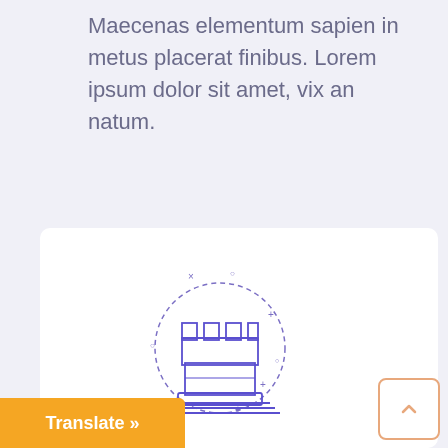Maecenas elementum sapien in metus placerat finibus. Lorem ipsum dolor sit amet, vix an natum.
[Figure (illustration): Chess rook piece illustration in purple/indigo line art style, surrounded by a dashed circle with small decorative plus signs, crosses, and dots]
Social Media Strategy
as elementum sapien in lacerat finibus. Lorem ipsum
Translate »